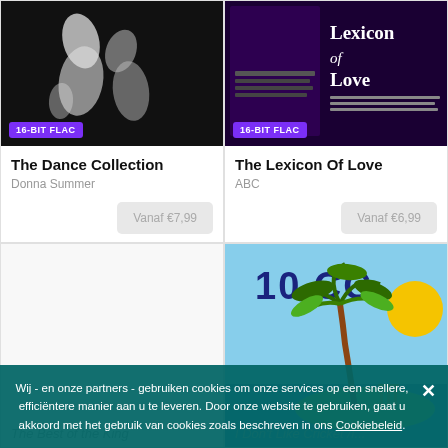[Figure (photo): Album artwork for The Dance Collection by Donna Summer — dark silhouette of dancers]
16-BIT FLAC
The Dance Collection
Donna Summer
Vanaf €7,99
[Figure (photo): Album artwork for The Lexicon Of Love by ABC — dark purple background with stylized text 'Lexicon of Love']
16-BIT FLAC
The Lexicon Of Love
ABC
Vanaf €6,99
[Figure (photo): Blank/white album artwork placeholder for The Best of the King]
[Figure (illustration): Album artwork for 10 CC — cartoon illustration with palm tree, sun, cricket stumps on island with blue sky background, '10 CC' text in large navy letters]
The Best of the King
I Don't Like Cricket /I...
Wij - en onze partners - gebruiken cookies om onze services op een snellere, efficiëntere manier aan u te leveren. Door onze website te gebruiken, gaat u akkoord met het gebruik van cookies zoals beschreven in ons Cookiebeleid.